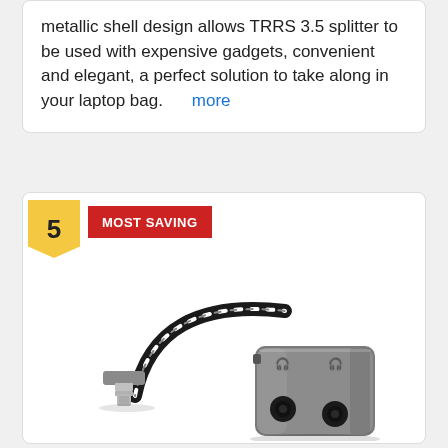metallic shell design allows TRRS 3.5 splitter to be used with expensive gadgets, convenient and elegant, a perfect solution to take along in your laptop bag.  more
5  MOST SAVING
[Figure (photo): A lightning to dual 3.5mm headphone jack splitter adapter with braided cable and gray aluminum body, showing two headphone ports on the bottom.]